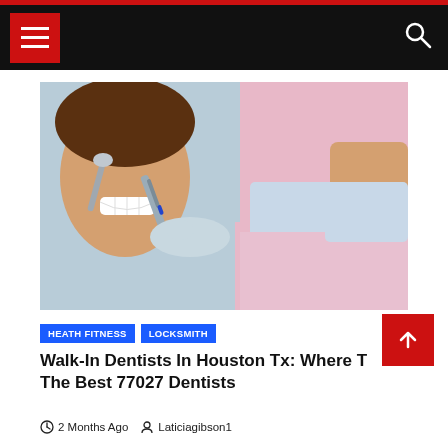Navigation bar with hamburger menu and search icon
[Figure (photo): A patient smiling during a dental procedure, with a dentist using dental tools. The patient is wearing a pink bib. Close-up dental office scene.]
HEATH FITNESS   LOCKSMITH
Walk-In Dentists In Houston Tx: Where To Find The Best 77027 Dentists
2 Months Ago   Laticiagibson1